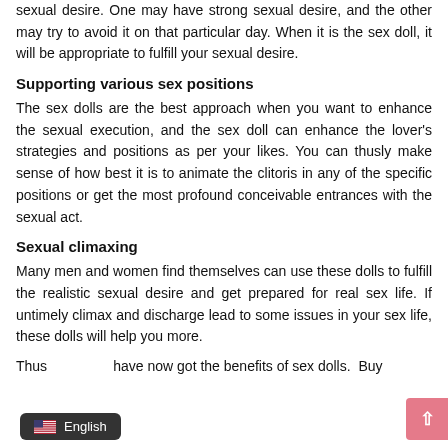sexual desire. One may have strong sexual desire, and the other may try to avoid it on that particular day. When it is the sex doll, it will be appropriate to fulfill your sexual desire.
Supporting various sex positions
The sex dolls are the best approach when you want to enhance the sexual execution, and the sex doll can enhance the lover's strategies and positions as per your likes. You can thusly make sense of how best it is to animate the clitoris in any of the specific positions or get the most profound conceivable entrances with the sexual act.
Sexual climaxing
Many men and women find themselves can use these dolls to fulfill the realistic sexual desire and get prepared for real sex life. If untimely climax and discharge lead to some issues in your sex life, these dolls will help you more.
Thus have now got the benefits of sex dolls. Buy